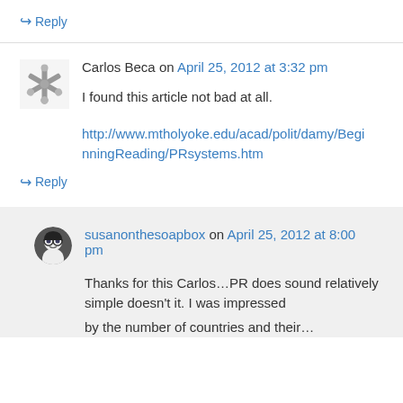↪ Reply
Carlos Beca on April 25, 2012 at 3:32 pm
I found this article not bad at all.
http://www.mtholyoke.edu/acad/polit/damy/BeginningReading/PRsystems.htm
↪ Reply
susanonthesoapbox on April 25, 2012 at 8:00 pm
Thanks for this Carlos…PR does sound relatively simple doesn't it. I was impressed by the number of countries and their…